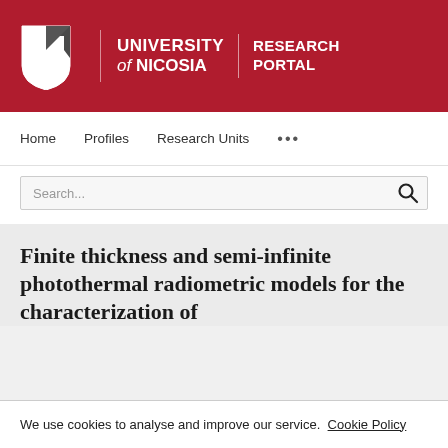[Figure (logo): University of Nicosia Research Portal logo with shield emblem, white text on dark red background]
Home   Profiles   Research Units   ...
Search...
Finite thickness and semi-infinite photothermal radiometric models for the characterization of
We use cookies to analyse and improve our service.  Cookie Policy